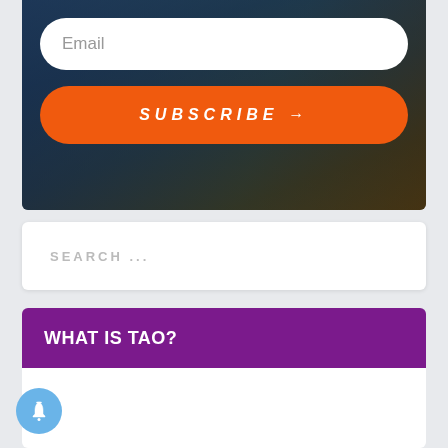[Figure (screenshot): Top banner with dark blue-teal background showing a subscribe form with Email input field and orange Subscribe button]
Email
SUBSCRIBE →
SEARCH ...
WHAT IS TAO?